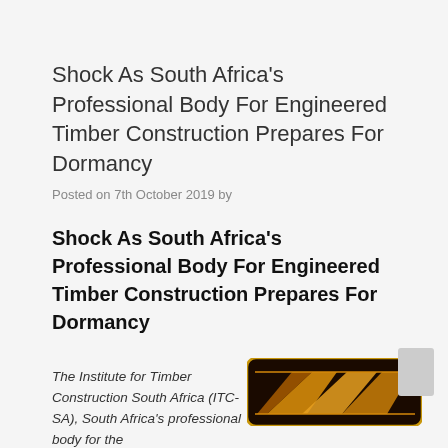Shock As South Africa's Professional Body For Engineered Timber Construction Prepares For Dormancy
Posted on 7th October 2019 by
Shock As South Africa's Professional Body For Engineered Timber Construction Prepares For Dormancy
The Institute for Timber Construction South Africa (ITC-SA), South Africa's professional body for the
[Figure (logo): Logo of the Institute for Timber Construction South Africa (ITC-SA), showing geometric angular shapes in orange/gold on a dark brown/black background with rounded rectangle border.]